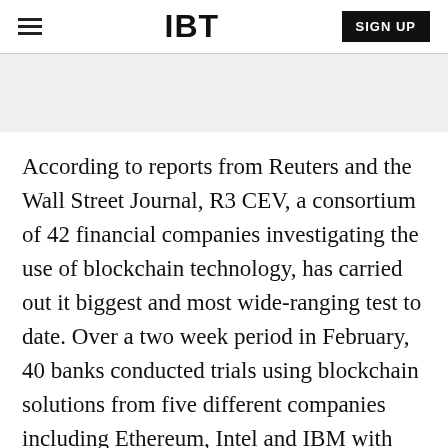IBT | SIGN UP
According to reports from Reuters and the Wall Street Journal, R3 CEV, a consortium of 42 financial companies investigating the use of blockchain technology, has carried out it biggest and most wide-ranging test to date. Over a two week period in February, 40 banks conducted trials using blockchain solutions from five different companies including Ethereum, Intel and IBM with cloud infrastructure provided by Amazon, IBM and